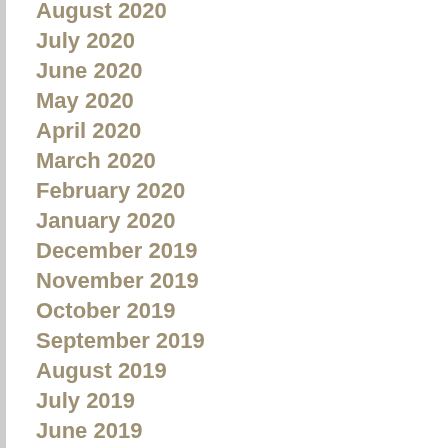August 2020
July 2020
June 2020
May 2020
April 2020
March 2020
February 2020
January 2020
December 2019
November 2019
October 2019
September 2019
August 2019
July 2019
June 2019